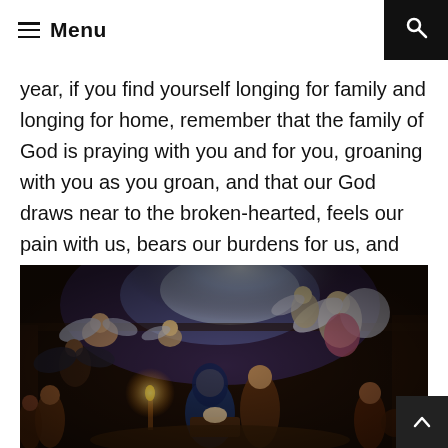Menu
year, if you find yourself longing for family and longing for home, remember that the family of God is praying with you and for you, groaning with you as you groan, and that our God draws near to the broken-hearted, feels our pain with us, bears our burdens for us, and gives us the most important thing we can have in challenging times: his promise. This year, hold fast to the promises of God.
[Figure (illustration): A classical religious painting depicting the Nativity scene with angels, cherubs, and figures gathered around, rendered in dark baroque style with warm candlelight tones.]